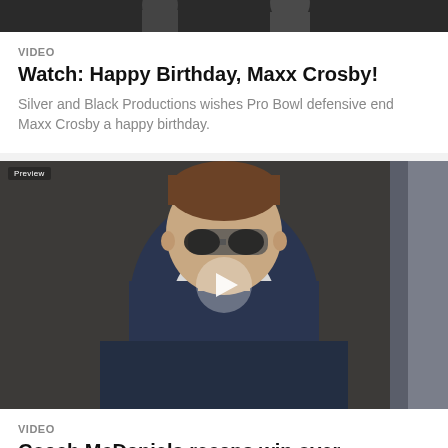[Figure (photo): Top portion of a video thumbnail showing people standing, partially cropped]
VIDEO
Watch: Happy Birthday, Maxx Crosby!
Silver and Black Productions wishes Pro Bowl defensive end Maxx Crosby a happy birthday.
[Figure (screenshot): Video thumbnail showing a man wearing a navy blue hoodie and sunglasses, with a play button overlay. Preview label in top-left corner.]
VIDEO
Coach McDaniels recaps win over